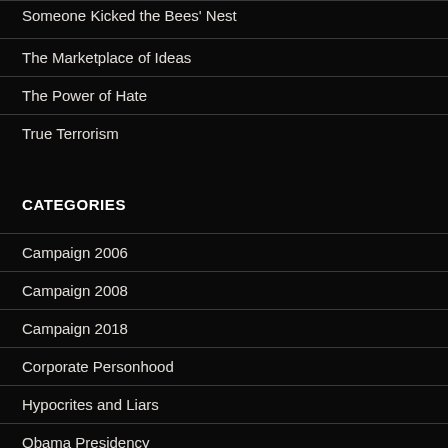Someone Kicked the Bees' Nest
The Marketplace of Ideas
The Power of Hate
True Terrorism
CATEGORIES
Campaign 2006
Campaign 2008
Campaign 2018
Corporate Personhood
Hypocrites and Liars
Obama Presidency